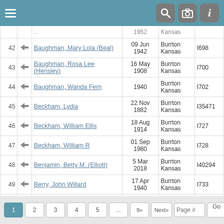Navigation header with menu, search, camera, and info icons
| # |  | Name | Date | Place | ID |
| --- | --- | --- | --- | --- | --- |
|  |  | ... | 1952 | Kansas |  |
| 42 | ⇦ | Baughman, Mary Lola (Beal) | 09 Jun 1942 | Burrton Kansas | I698 |
| 43 | ⇦ | Baughman, Rosa Lee (Hensley) | 16 May 1908 | Burrton Kansas | I700 |
| 44 | ⇦ | Baughman, Wanda Fern | 1940 | Burrton Kansas | I702 |
| 45 | ⇦ | Beckham, Lydia | 22 Nov 1882 | Burrton Kansas | I35471 |
| 46 | ⇦ | Beckham, William Ellis | 18 Aug 1914 | Burrton Kansas | I727 |
| 47 | ⇦ | Beckham, William R | 01 Sep 1980 | Burrton Kansas | I728 |
| 48 | ⇦ | Benjamin, Betty M. (Elliott) | 5 Mar 2018 | Burrton Kansas | I40294 |
| 49 | ⇦ | Berry, John Willard | 17 Apr 1940 | Burrton Kansas | I733 |
| 50 | ⇦ | Bickel, Casper C | 05 Feb 1893 | Burrton Kansas | I738 |
Pagination: 1 2 3 4 5 ... 9» Next» Page # Go